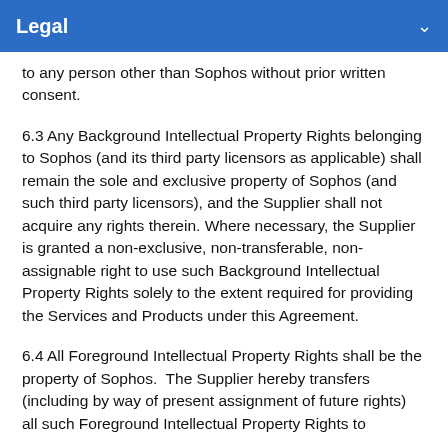Legal
to any person other than Sophos without prior written consent.
6.3 Any Background Intellectual Property Rights belonging to Sophos (and its third party licensors as applicable) shall remain the sole and exclusive property of Sophos (and such third party licensors), and the Supplier shall not acquire any rights therein. Where necessary, the Supplier is granted a non-exclusive, non-transferable, non-assignable right to use such Background Intellectual Property Rights solely to the extent required for providing the Services and Products under this Agreement.
6.4 All Foreground Intellectual Property Rights shall be the property of Sophos.  The Supplier hereby transfers (including by way of present assignment of future rights) all such Foreground Intellectual Property Rights to